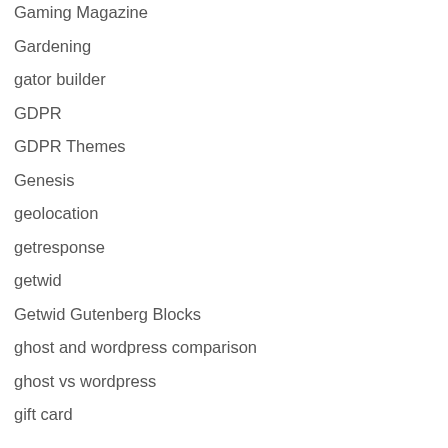Gaming Magazine
Gardening
gator builder
GDPR
GDPR Themes
Genesis
geolocation
getresponse
getwid
Getwid Gutenberg Blocks
ghost and wordpress comparison
ghost vs wordpress
gift card